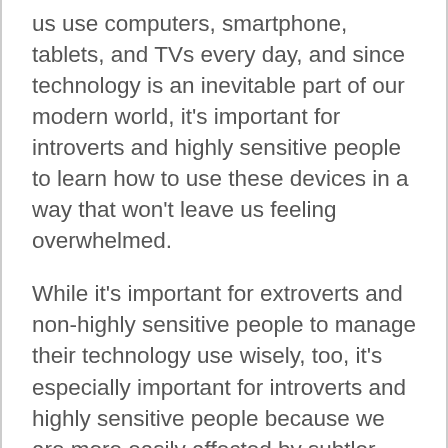us use computers, smartphone, tablets, and TVs every day, and since technology is an inevitable part of our modern world, it's important for introverts and highly sensitive people to learn how to use these devices in a way that won't leave us feeling overwhelmed.
While it's important for extroverts and non-highly sensitive people to manage their technology use wisely, too, it's especially important for introverts and highly sensitive people because we are more easily affected by subtler forms of stimulation and because we reach the point of overwhelm much sooner.
These are some of my favorite ways to use technology without feeling overwhelmed, and, even though each of these are just small